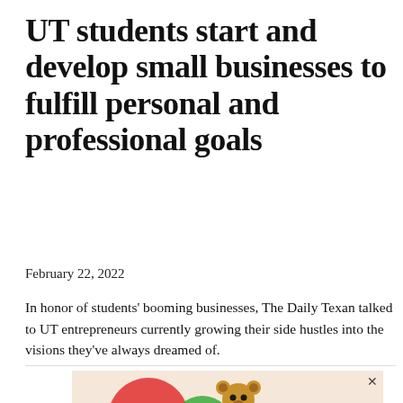UT students start and develop small businesses to fulfill personal and professional goals
February 22, 2022
In honor of students' booming businesses, The Daily Texan talked to UT entrepreneurs currently growing their side hustles into the visions they've always dreamed of.
[Figure (illustration): Advertisement banner for utexas.rent student housing showing colorful circles, a bear plush toy, and a person on a laptop, with 'Austin's Best Housing for Students' text and 'Visit UTEXAS.RENT' call to action.]